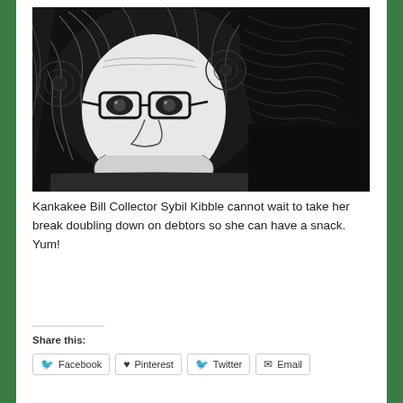[Figure (illustration): Black and white ink illustration of a grinning woman with glasses and curly hair sitting at a desk. In the upper right there is a sign reading 'GRASS EITO' and text 'MoroniCArts.com'. On the desk in front of her is a box labeled 'DOG TREATS'.]
Kankakee Bill Collector Sybil Kibble cannot wait to take her break doubling down on debtors so she can have a snack. Yum!
Share this:
Facebook
Pinterest
Twitter
Email